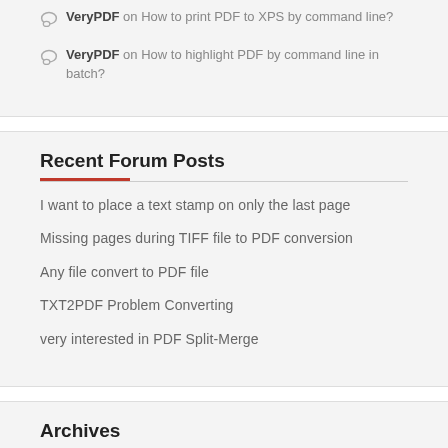VeryPDF on How to print PDF to XPS by command line?
VeryPDF on How to highlight PDF by command line in batch?
Recent Forum Posts
I want to place a text stamp on only the last page
Missing pages during TIFF file to PDF conversion
Any file convert to PDF file
TXT2PDF Problem Converting
very interested in PDF Split-Merge
Archives